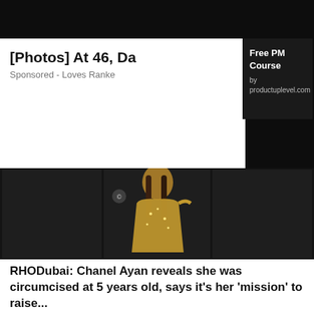[Figure (screenshot): Screenshot of a webpage showing overlapping content: a partial photo of a man, a popup ad card for 'Free PM Course by productuplevel.com', a partially visible article headline '[Photos] At 46, Da...' with 'Sponsored - Loves Ranke...' below it, and a dark overlay blocking parts of the content.]
[Photos] At 46, Da
Sponsored - Loves Ranke
[Figure (photo): Photo of a tall woman in a gold sequined off-shoulder gown standing against a dark paneled background, smiling.]
RHODubai: Chanel Ayan reveals she was circumcised at 5 years old, says it's her 'mission' to raise...